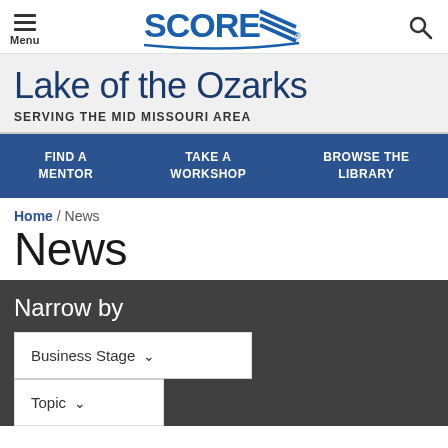Menu | SCORE | (search icon)
Lake of the Ozarks
SERVING THE MID MISSOURI AREA
FIND A MENTOR
TAKE A WORKSHOP
BROWSE THE LIBRARY
Home / News
News
Narrow by
Business Stage
Topic